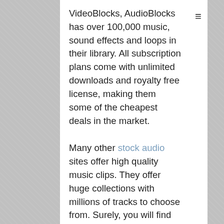VideoBlocks, AudioBlocks has over 100,000 music, sound effects and loops in their library. All subscription plans come with unlimited downloads and royalty free license, making them some of the cheapest deals in the market.
Many other stock audio sites offer high quality music clips. They offer huge collections with millions of tracks to choose from. Surely, you will find the ideal music and sound effects to your brand's footage.